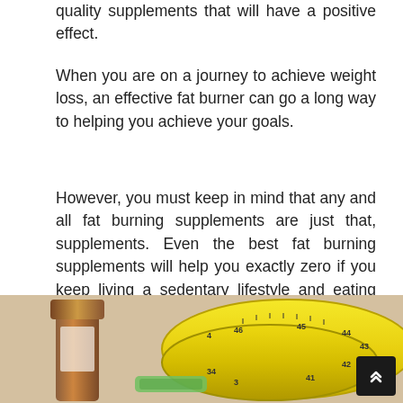quality supplements that will have a positive effect.
When you are on a journey to achieve weight loss, an effective fat burner can go a long way to helping you achieve your goals.
However, you must keep in mind that any and all fat burning supplements are just that, supplements. Even the best fat burning supplements will help you exactly zero if you keep living a sedentary lifestyle and eating whatever you want.
The top fat burners are aids to an already functioning fat loss strategy that consists of healthy eating and exercise that includes both cardio and muscle building.
[Figure (photo): Photo of a brown pill/supplement bottle and yellow measuring tape against a light background]